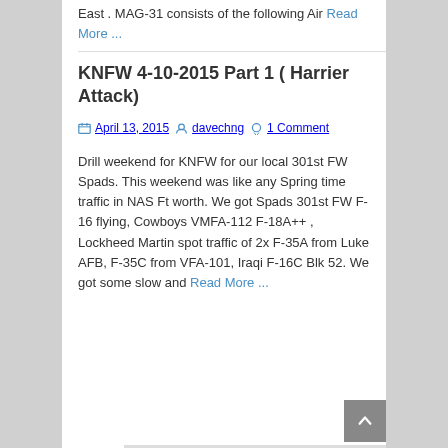East . MAG-31 consists of the following Air Read More ...
KNFW 4-10-2015 Part 1 ( Harrier Attack)
April 13, 2015  davechng  1 Comment
Drill weekend for KNFW for our local 301st FW Spads. This weekend was like any Spring time traffic in NAS Ft worth. We got Spads 301st FW F-16 flying, Cowboys VMFA-112 F-18A++ , Lockheed Martin spot traffic of 2x F-35A from Luke AFB, F-35C from VFA-101, Iraqi F-16C Blk 52. We got some slow and Read More ...